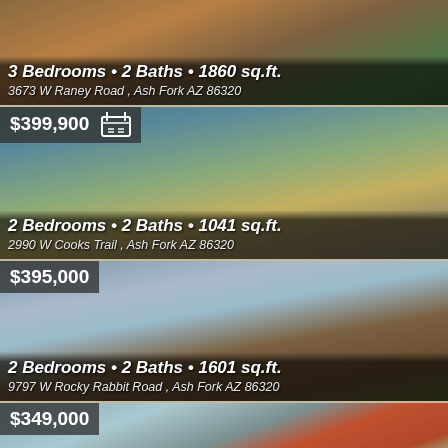[Figure (photo): Photo of a log cabin house with landscaping, Ash Fork AZ]
3 Bedrooms • 2 Baths • 1860 sq.ft.
3673 W Raney Road , Ash Fork AZ 86320
$399,900
[Figure (photo): Photo of a ranch-style home with covered porch, Ash Fork AZ]
2 Bedrooms • 2 Baths • 1041 sq.ft.
2990 W Cooks Trail , Ash Fork AZ 86320
$395,000
[Figure (photo): Photo of a rural barn/cabin with blue sky, Ash Fork AZ]
2 Bedrooms • 2 Baths • 1601 sq.ft.
9797 W Rocky Rabbit Road , Ash Fork AZ 86320
$349,000
[Figure (photo): Photo of a red farmhouse, Ash Fork AZ]